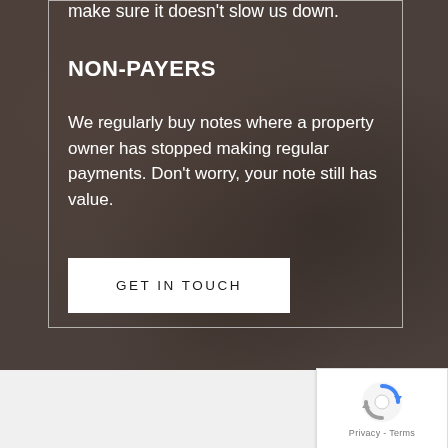make sure it doesn't slow us down.
NON-PAYERS
We regularly buy notes where a property owner has stopped making regular payments. Don't worry, your note still has value.
GET IN TOUCH
[Figure (other): reCAPTCHA badge with rotating arrows icon and Privacy - Terms text]